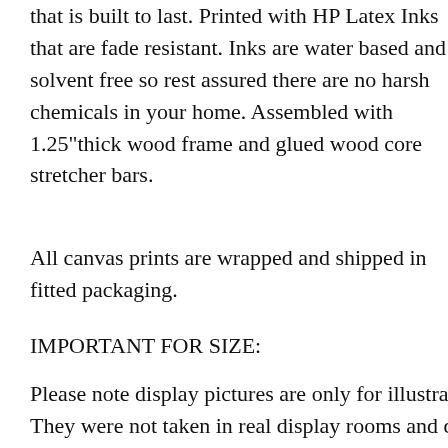that is built to last. Printed with HP Latex Inks that are fade resistant. Inks are water based and solvent free so rest assured there are no harsh chemicals in your home. Assembled with 1.25"thick wood frame and glued wood core stretcher bars.
All canvas prints are wrapped and shipped in fitted packaging.
IMPORTANT FOR SIZE:
Please note display pictures are only for illustration purp... They were not taken in real display rooms and do not rep... Please measure your wall properly and make sure you pic...